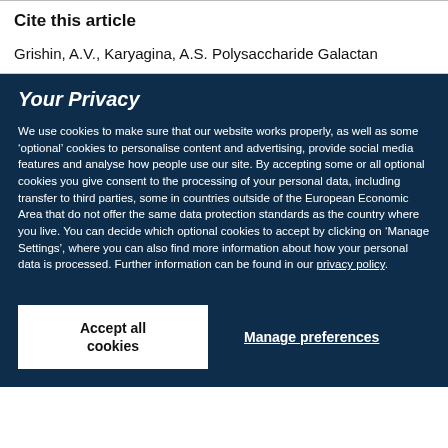Cite this article
Grishin, A.V., Karyagina, A.S. Polysaccharide Galactan
Your Privacy
We use cookies to make sure that our website works properly, as well as some ‘optional’ cookies to personalise content and advertising, provide social media features and analyse how people use our site. By accepting some or all optional cookies you give consent to the processing of your personal data, including transfer to third parties, some in countries outside of the European Economic Area that do not offer the same data protection standards as the country where you live. You can decide which optional cookies to accept by clicking on ‘Manage Settings’, where you can also find more information about how your personal data is processed. Further information can be found in our privacy policy.
Accept all cookies
Manage preferences